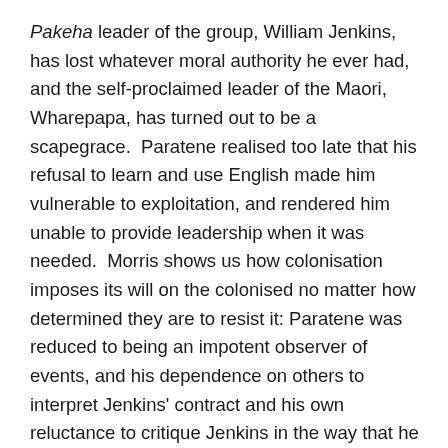Pakeha leader of the group, William Jenkins, has lost whatever moral authority he ever had, and the self-proclaimed leader of the Maori, Wharepapa, has turned out to be a scapegrace.  Paratene realised too late that his refusal to learn and use English made him vulnerable to exploitation, and rendered him unable to provide leadership when it was needed.  Morris shows us how colonisation imposes its will on the colonised no matter how determined they are to resist it: Paratene was reduced to being an impotent observer of events, and his dependence on others to interpret Jenkins' contract and his own reluctance to critique Jenkins in the way that he critiques the other Rangatira meant that he never really resolved the purpose of the trip: was it for the Maori Rangatira to establish relationships with the influential leaders of England, or was it a quasi-religious version of a